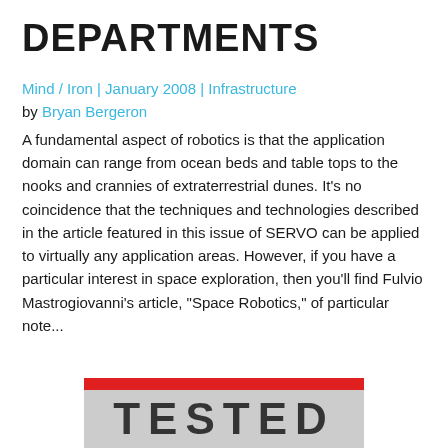DEPARTMENTS
Mind / Iron | January 2008 | Infrastructure
by Bryan Bergeron
A fundamental aspect of robotics is that the application domain can range from ocean beds and table tops to the nooks and crannies of extraterrestrial dunes. It’s no coincidence that the techniques and technologies described in the article featured in this issue of SERVO can be applied to virtually any application areas. However, if you have a particular interest in space exploration, then you’ll find Fulvio Mastrogiovanni’s article, “Space Robotics,” of particular note...
[Figure (other): Partial image at bottom of page showing a red bar above a gray bar with large bold partially visible letters, likely the beginning of a magazine section title or logo.]